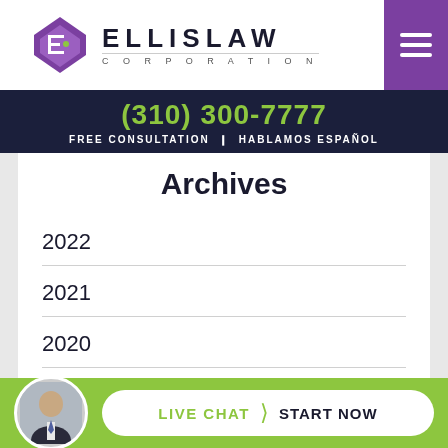[Figure (logo): Ellis Law Corporation logo with purple diamond/shield icon and bold ELLISLAW text with CORPORATION subtitle]
(310) 300-7777
FREE CONSULTATION ❙ HABLAMOS ESPAÑOL
Archives
2022
2021
2020
2019
LIVE CHAT ❯ START NOW